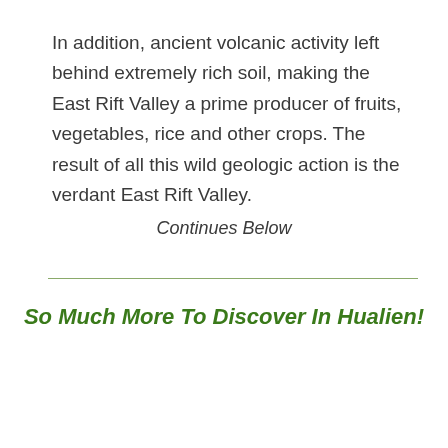In addition, ancient volcanic activity left behind extremely rich soil, making the East Rift Valley a prime producer of fruits, vegetables, rice and other crops. The result of all this wild geologic action is the verdant East Rift Valley.
Continues Below
So Much More To Discover In Hualien!